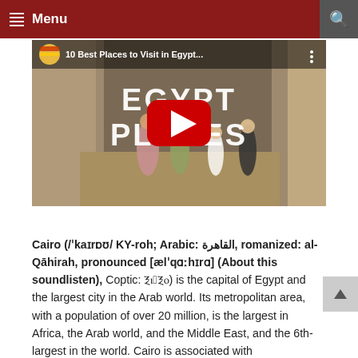Menu
[Figure (screenshot): YouTube video thumbnail showing tourists at an Egyptian temple site with the text 'EGYPT PLACES' overlaid and a YouTube play button. Video title: '10 Best Places to Visit in Egypt...']
Cairo (/ˈkaɪrŊ/ KY-roh; Arabic: القاهرة, romanized: al-Qāhirah, pronounced [ælˈqɑːhɪrɑ] (About this soundlisten), Coptic: Ⲝⲓⲙ2Ⲝⲟ) is the capital of Egypt and the largest city in the Arab world. Its metropolitan area, with a population of over 20 million, is the largest in Africa, the Arab world, and the Middle East, and the 6th-largest in the world. Cairo is associated with